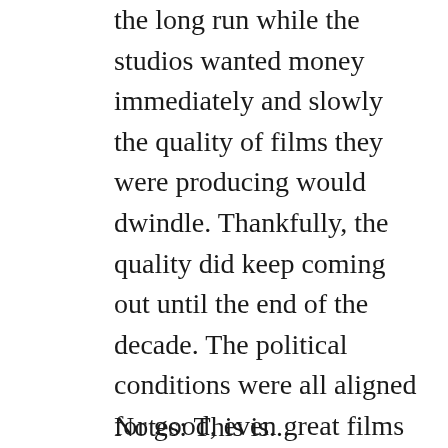the long run while the studios wanted money immediately and slowly the quality of films they were producing would dwindle. Thankfully, the quality did keep coming out until the end of the decade. The political conditions were all aligned for good, even great films to be made. Great films never come out in abundance when the nation is affluent. Pre-packaged hit-me films do, the 80s were a great time to grow up in because you probably weren't aware of all that was going on around you. Yet I do recall seeing the possibility for change and seeing that something good can occur in this world and I saw it plastered across a large silver screen every weekend.
Notes: This is...